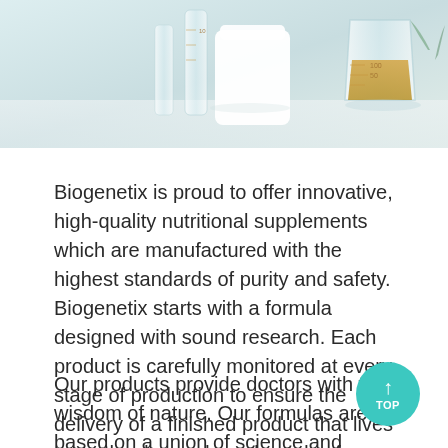[Figure (photo): Photo of laboratory glassware and equipment including beakers, measuring cylinders with golden/yellow liquid, and a white container on a light background.]
Biogenetix is proud to offer innovative, high-quality nutritional supplements which are manufactured with the highest standards of purity and safety. Biogenetix starts with a formula designed with sound research. Each product is carefully monitored at every stage of production to ensure the delivery of a finished product that lives up to the demands and needs of today's health care practitioner.
Our products provide doctors with the wisdom of nature. Our formulas are based on a union of science and nature. Science allows us to understand nature so we can combine different botanical elements from different